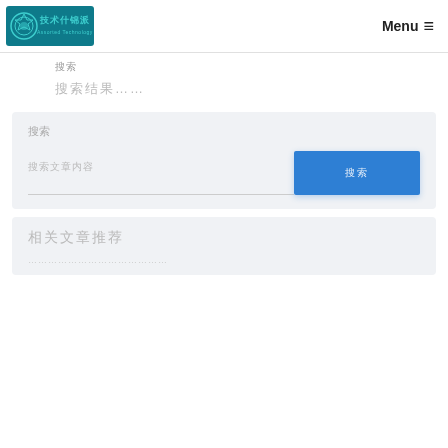技术什锦派 Assorted Technology Pie | Menu ≡
搜索
搜索结果……
[Figure (screenshot): Search input form with placeholder text and blue submit button]
[Figure (screenshot): Card section with title and subtitle text]